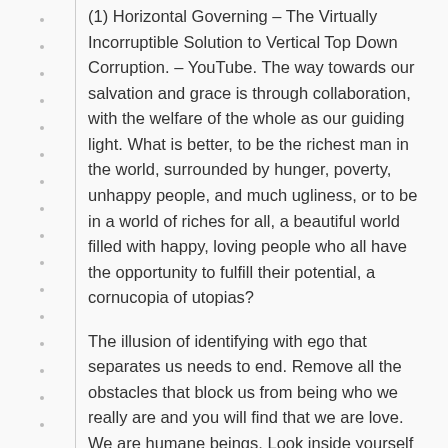(1) Horizontal Governing – The Virtually Incorruptible Solution to Vertical Top Down Corruption. – YouTube. The way towards our salvation and grace is through collaboration, with the welfare of the whole as our guiding light. What is better, to be the richest man in the world, surrounded by hunger, poverty, unhappy people, and much ugliness, or to be in a world of riches for all, a beautiful world filled with happy, loving people who all have the opportunity to fulfill their potential, a cornucopia of utopias?
The illusion of identifying with ego that separates us needs to end. Remove all the obstacles that block us from being who we really are and you will find that we are love. We are humane beings. Look inside yourself and see if it is not true. In an ethical and sane world, we are all noble souls here to experience love in all of its infinite forms. Every act can be a loving act.
Bolstering our egos is a false path to find love. It is